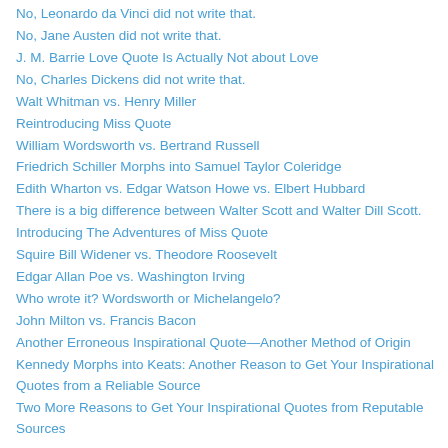No, Leonardo da Vinci did not write that.
No, Jane Austen did not write that.
J. M. Barrie Love Quote Is Actually Not about Love
No, Charles Dickens did not write that.
Walt Whitman vs. Henry Miller
Reintroducing Miss Quote
William Wordsworth vs. Bertrand Russell
Friedrich Schiller Morphs into Samuel Taylor Coleridge
Edith Wharton vs. Edgar Watson Howe vs. Elbert Hubbard
There is a big difference between Walter Scott and Walter Dill Scott.
Introducing The Adventures of Miss Quote
Squire Bill Widener vs. Theodore Roosevelt
Edgar Allan Poe vs. Washington Irving
Who wrote it? Wordsworth or Michelangelo?
John Milton vs. Francis Bacon
Another Erroneous Inspirational Quote—Another Method of Origin
Kennedy Morphs into Keats: Another Reason to Get Your Inspirational Quotes from a Reliable Source
Two More Reasons to Get Your Inspirational Quotes from Reputable Sources